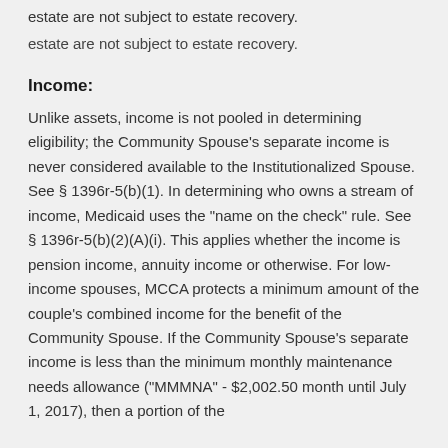estate are not subject to estate recovery.
Income:
Unlike assets, income is not pooled in determining eligibility; the Community Spouse's separate income is never considered available to the Institutionalized Spouse. See § 1396r-5(b)(1). In determining who owns a stream of income, Medicaid uses the "name on the check" rule. See § 1396r-5(b)(2)(A)(i). This applies whether the income is pension income, annuity income or otherwise. For low-income spouses, MCCA protects a minimum amount of the couple's combined income for the benefit of the Community Spouse. If the Community Spouse's separate income is less than the minimum monthly maintenance needs allowance ("MMMNA" - $2,002.50 month until July 1, 2017), then a portion of the